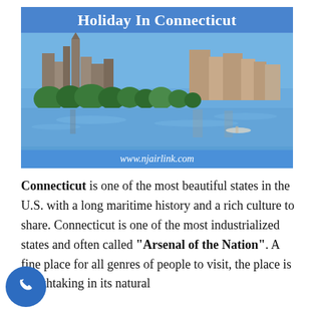[Figure (photo): A cityscape photo of Connecticut showing buildings and a river with a blue sky, with title 'Holiday In Connecticut' and URL www.njairlink.com at the bottom]
Connecticut is one of the most beautiful states in the U.S. with a long maritime history and a rich culture to share. Connecticut is one of the most industrialized states and often called "Arsenal of the Nation". A fine place for all genres of people to visit, the place is breathtaking in its natural